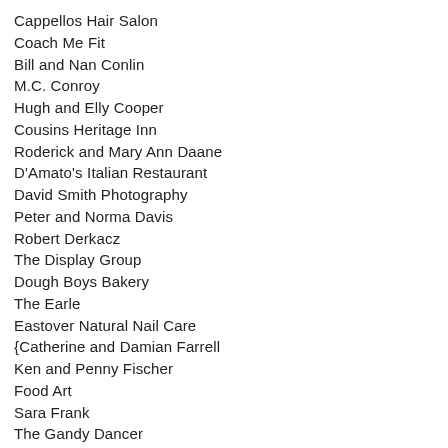Cappellos Hair Salon
Coach Me Fit
Bill and Nan Conlin
M.C. Conroy
Hugh and Elly Cooper
Cousins Heritage Inn
Roderick and Mary Ann Daane
D'Amato's Italian Restaurant
David Smith Photography
Peter and Norma Davis
Robert Derkacz
The Display Group
Dough Boys Bakery
The Earle
Eastover Natural Nail Care
{Catherine and Damian Farrell
Ken and Penny Fischer
Food Art
Sara Frank
The Gandy Dancer
Beverley and Gerson Geltner
Great Harvest Bread Company
Linda and Richard Greene
Nina Hauser